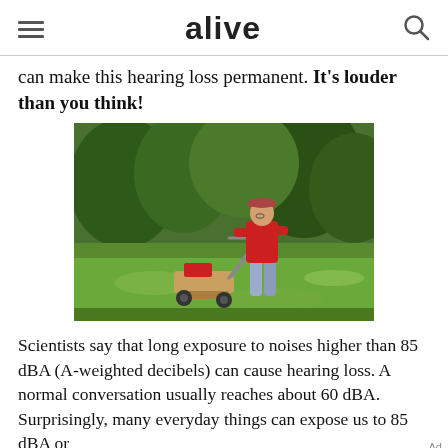alive
can make this hearing loss permanent. It's louder than you think!
[Figure (photo): Man in red sweater and cap pushing a lawn mower across a green garden lawn, surrounded by lush green trees and shrubs]
Scientists say that long exposure to noises higher than 85 dBA (A-weighted decibels) can cause hearing loss. A normal conversation usually reaches about 60 dBA. Surprisingly, many everyday things can expose us to 85 dBA or